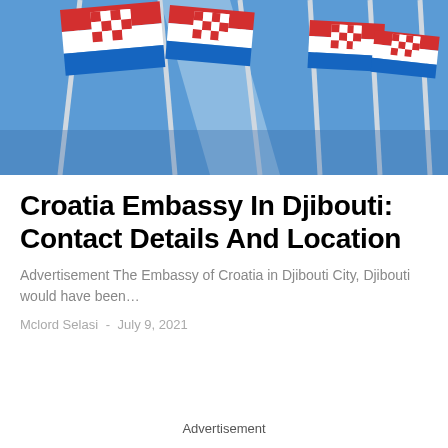[Figure (photo): Photo of multiple Croatian flags hanging on poles against a blue sky background]
Croatia Embassy In Djibouti: Contact Details And Location
Advertisement The Embassy of Croatia in Djibouti City, Djibouti would have been…
Mclord Selasi  -  July 9, 2021
Advertisement